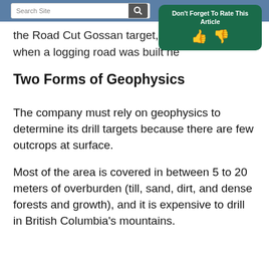Search Site
the Road Cut Gossan target, whi... when a logging road was built ne...
Two Forms of Geophysics
The company must rely on geophysics to determine its drill targets because there are few outcrops at surface.
Most of the area is covered in between 5 to 20 meters of overburden (till, sand, dirt, and dense forests and growth), and it is expensive to drill in British Columbia’s mountains.